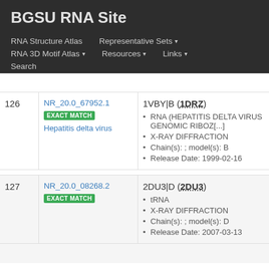BGSU RNA Site
RNA Structure Atlas | Representative Sets ▾ | RNA 3D Motif Atlas ▾ | Resources ▾ | Links ▾ | Search
| # | ID / Match / Species | Structure Details |
| --- | --- | --- |
| 126 | NR_20.0_67952.1 EXACT MATCH Hepatitis delta virus | 1VBY|B (1DRZ) • RNA (HEPATITIS DELTA VIRUS GENOMIC RIBOZ[...]) • X-RAY DIFFRACTION • Chain(s): ; model(s): B • Release Date: 1999-02-16 |
| 127 | NR_20.0_08268.2 EXACT MATCH | 2DU3|D (2DU3) • tRNA • X-RAY DIFFRACTION • Chain(s): ; model(s): D • Release Date: 2007-03-13 |